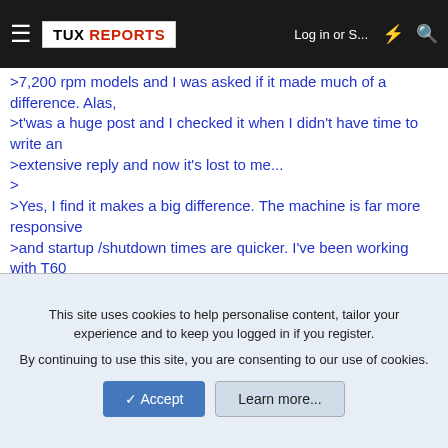TUX REPORTS — Log in or S... (navigation bar)
>7,200 rpm models and I was asked if it made much of a difference. Alas,
>t'was a huge post and I checked it when I didn't have time to write an
>extensive reply and now it's lost to me...
>
>Yes, I find it makes a big difference. The machine is far more responsive
>and startup /shutdown times are quicker. I've been working with T60
>ThinkPads recently, most of which come standard with an Hitachi 5,400 rpm
>drive. My replacement drive of preference is a Seagate Momentus 7200.4
>320GB. This T60 is running XP Pro and actually came with a
This site uses cookies to help personalise content, tailor your experience and to keep you logged in if you register.
By continuing to use this site, you are consenting to our use of cookies.